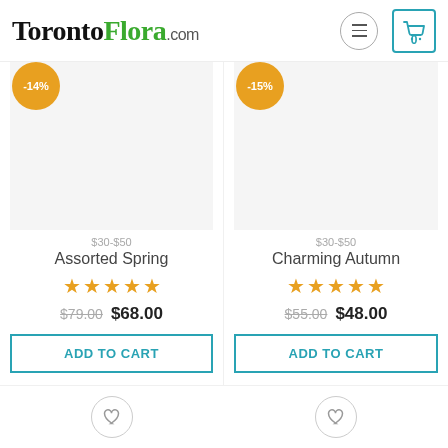TorontoFlora.com
[Figure (screenshot): Product card for Assorted Spring with -14% badge, product image placeholder, $30-$50 price range, 5-star rating, original price $79.00, sale price $68.00, and ADD TO CART button]
[Figure (screenshot): Product card for Charming Autumn with -15% badge, product image placeholder, $30-$50 price range, 5-star rating, original price $55.00, sale price $48.00, and ADD TO CART button]
[Figure (screenshot): Bottom partial product cards with heart/wishlist buttons visible at bottom of page]